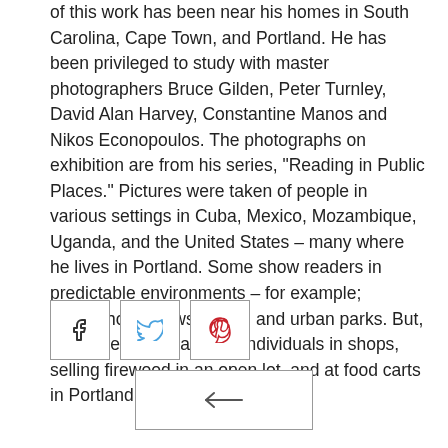of this work has been near his homes in South Carolina, Cape Town, and Portland. He has been privileged to study with master photographers Bruce Gilden, Peter Turnley, David Alan Harvey, Constantine Manos and Nikos Econopoulos. The photographs on exhibition are from his series, "Reading in Public Places." Pictures were taken of people in various settings in Cuba, Mexico, Mozambique, Uganda, and the United States – many where he lives in Portland. Some show readers in predictable environments – for example; coffeeshops, newsstands, and urban parks. But, there are also images of individuals in shops, selling firewood in an open lot, and at food carts in Portland
[Figure (other): Three social media share buttons: Facebook (f icon), Twitter (bird icon), Pinterest (p icon), each in a square outlined box]
[Figure (other): A back navigation button (left arrow) in a rectangular outlined box]